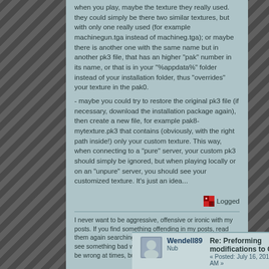when you play, maybe the texture they really used. they could simply be there two similar textures, but with only one really used (for example machinegun.tga instead of machineg.tga); or maybe there is another one with the same name but in another pk3 file, that has an higher "pak" number in its name, or that is in your "%appdata%" folder instead of your installation folder, thus "overrides" your texture in the pak0.
- maybe you could try to restore the original pk3 file (if necessary, download the installation package again), then create a new file, for example pak8-mytexture.pk3 that contains (obviously, with the right path inside!) only your custom texture. This way, when connecting to a "pure" server, your custom pk3 should simply be ignored, but when playing locally or on an "unpure" server, you should see your customized texture. It's just an idea...
Logged
I never want to be aggressive, offensive or ironic with my posts. If you find something offending in my posts, read them again searching for a different mood there. If you still see something bad with them, please ask me infos. I can be wrong at times, but I never want to upset anyone.
Wendell89
Nub
Re: Preforming modifications to OA
Posted: July 16, 2013, 11:18:12 AM